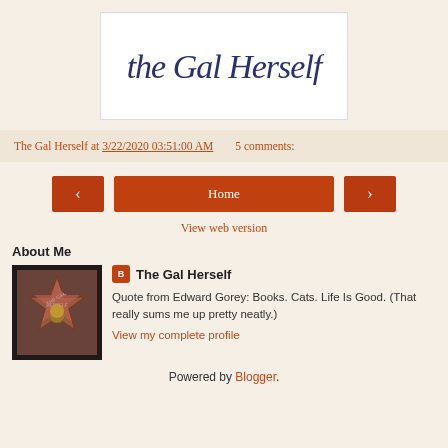[Figure (logo): Cursive script logo reading 'The Gal Herself' in dark navy/purple ink on white background with thin border]
The Gal Herself at 3/22/2020 03:51:00 AM    5 comments:
< Home >
View web version
About Me
[Figure (photo): Hollywood Walk of Fame star reading 'The Gal Herself']
The Gal Herself
Quote from Edward Gorey: Books. Cats. Life Is Good. (That really sums me up pretty neatly.)
View my complete profile
Powered by Blogger.